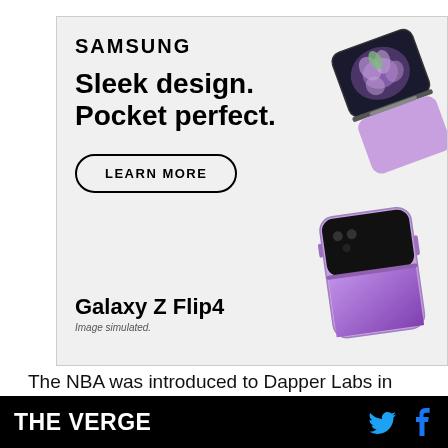[Figure (illustration): Samsung Galaxy Z Flip4 advertisement. Light gray background. Samsung wordmark at top left. Large bold text: 'Sleek design. Pocket perfect.' A rounded rectangle button labeled 'LEARN MORE'. Two Samsung Galaxy Z Flip4 phones (purple/lavender) shown folded and unfolded on the right side. Bottom left: 'Galaxy Z Flip4' model name and 'Image simulated.' disclaimer.]
The NBA was introduced to Dapper Labs in 2018, when the league was considering applications for blockchain in its business, O'Keeffe says. Dapper Labs launched CryptoKitties, a game on the
THE VERGE